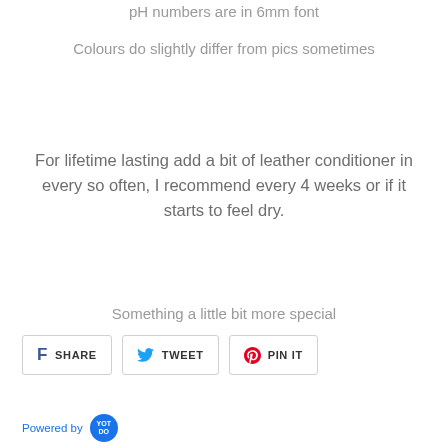pH numbers are in 6mm font
Colours do slightly differ from pics sometimes
For lifetime lasting add a bit of leather conditioner in every so often, I recommend every 4 weeks or if it starts to feel dry.
Something a little bit more special
SHARE   TWEET   PIN IT
Powered by YOT DO